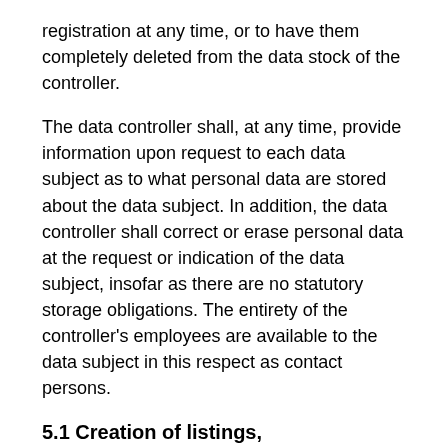registration at any time, or to have them completely deleted from the data stock of the controller.
The data controller shall, at any time, provide information upon request to each data subject as to what personal data are stored about the data subject. In addition, the data controller shall correct or erase personal data at the request or indication of the data subject, insofar as there are no statutory storage obligations. The entirety of the controller's employees are available to the data subject in this respect as contact persons.
5.1 Creation of listings, advertisements, publication, messaging function and other form entries on our website
The data subject has the possibility of creating, publishing and deleting listings/advertisements on the website of the data controller, stating personal data. The personal data transmitted to the data controller in the process is determined by the respective input mask used for the